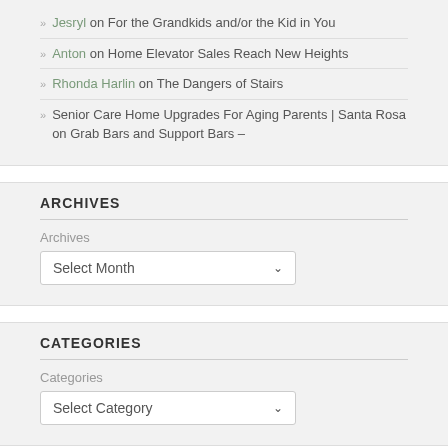Jesryl on For the Grandkids and/or the Kid in You
Anton on Home Elevator Sales Reach New Heights
Rhonda Harlin on The Dangers of Stairs
Senior Care Home Upgrades For Aging Parents | Santa Rosa on Grab Bars and Support Bars –
ARCHIVES
Archives
Select Month
CATEGORIES
Categories
Select Category